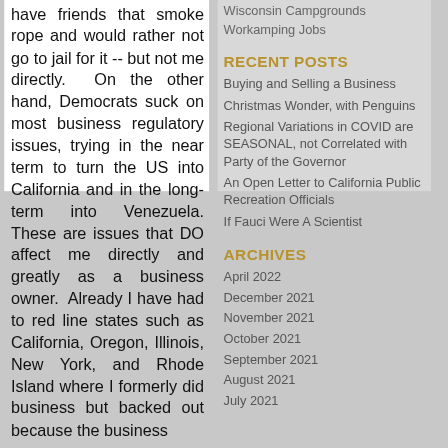have friends that smoke rope and would rather not go to jail for it -- but not me directly.  On the other hand, Democrats suck on most business regulatory issues, trying in the near term to turn the US into California and in the long-term into Venezuela. These are issues that DO affect me directly and greatly as a business owner.  Already I have had to red line states such as California, Oregon, Illinois, New York, and Rhode Island where I formerly did business but backed out because the business
Wisconsin Campgrounds
Workamping Jobs
RECENT POSTS
Buying and Selling a Business
Christmas Wonder, with Penguins
Regional Variations in COVID are SEASONAL, not Correlated with Party of the Governor
An Open Letter to California Public Recreation Officials
If Fauci Were A Scientist
ARCHIVES
April 2022
December 2021
November 2021
October 2021
September 2021
August 2021
July 2021